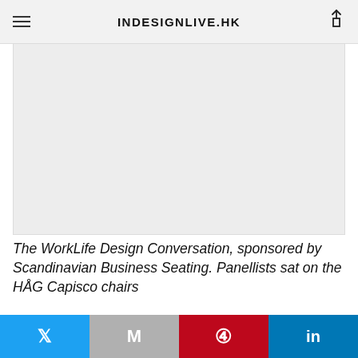INDESIGNLIVE.HK
[Figure (photo): Photograph placeholder showing the WorkLife Design Conversation event sponsored by Scandinavian Business Seating, with panellists sitting on HÅG Capisco chairs.]
The WorkLife Design Conversation, sponsored by Scandinavian Business Seating. Panellists sat on the HÅG Capisco chairs
Story continues below advertisement
Twitter | Gmail | Pinterest | LinkedIn